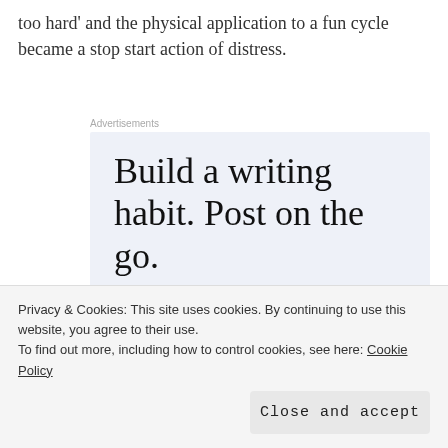too hard' and the physical application to a fun cycle became a stop start action of distress.
Advertisements
[Figure (screenshot): Advertisement banner with text 'Build a writing habit. Post on the go.' and a 'GET THE APP' call to action with WordPress logo icon]
Privacy & Cookies: This site uses cookies. By continuing to use this website, you agree to their use.
To find out more, including how to control cookies, see here: Cookie Policy
Close and accept